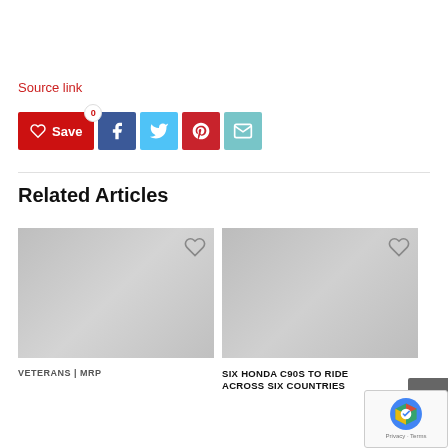Source link
[Figure (infographic): Social sharing bar with Save button (red, heart icon, count 0), Facebook icon (dark blue), Twitter icon (light blue), Pinterest icon (red), Email icon (teal)]
Related Articles
[Figure (infographic): Two article preview cards side by side. Left card shows placeholder image with heart overlay, tag 'VETERANS | MRP'. Right card shows placeholder image with heart overlay, title 'SIX HONDA C90S TO RIDE ACROSS SIX COUNTRIES'. Scroll-to-top button (dark grey arrow) bottom right. reCAPTCHA badge bottom right.]